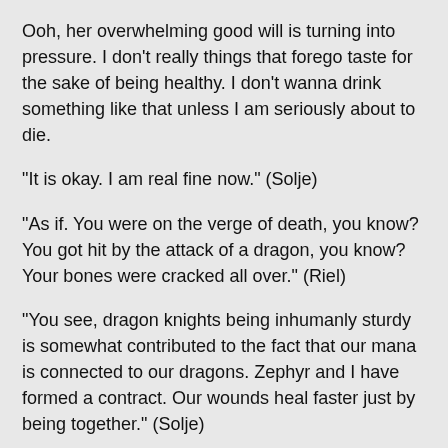Ooh, her overwhelming good will is turning into pressure. I don't really things that forego taste for the sake of being healthy. I don't wanna drink something like that unless I am seriously about to die.
“It is okay. I am real fine now.” (Solje)
“As if. You were on the verge of death, you know? You got hit by the attack of a dragon, you know? Your bones were cracked all over.” (Riel)
“You see, dragon knights being inhumanly sturdy is somewhat contributed to the fact that our mana is connected to our dragons. Zephyr and I have formed a contract. Our wounds heal faster just by being together.” (Solje)
“Muh, is that so? Sounds like the relationship between elves and the forest.” (Riel)